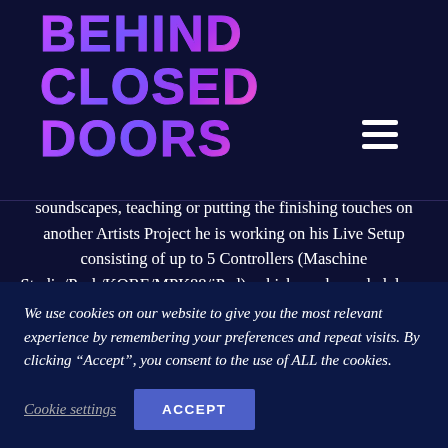[Figure (logo): Behind Closed Doors logo in purple/pink gradient bold uppercase text on dark navy background]
[Figure (other): Hamburger menu icon (three horizontal white bars) in top right corner]
soundscapes, teaching or putting the finishing touches on another Artists Project he is working on his Live Setup consisting of up to 5 Controllers (Maschine Studio/Push/KORE/MPK88/iPad), which can be scaled down to just 2 for club performances.
His Live sound can vary from deep dark Techno to lush-full groovy Electro with bluesy melodies intertwined.Stephan skills as an Audio-Engineer brings a
We use cookies on our website to give you the most relevant experience by remembering your preferences and repeat visits. By clicking “Accept”, you consent to the use of ALL the cookies.
Cookie settings
ACCEPT